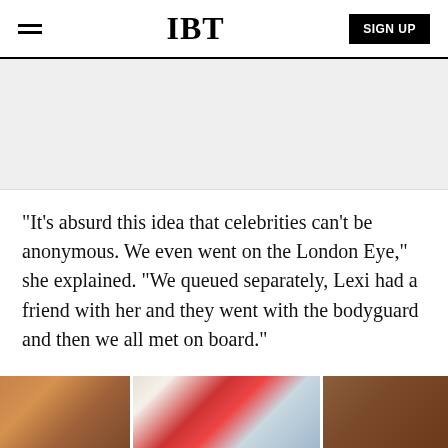IBT
[Figure (other): Gray advertisement placeholder area]
"It's absurd this idea that celebrities can't be anonymous. We even went on the London Eye," she explained. "We queued separately, Lexi had a friend with her and they went with the bodyguard and then we all met on board."
[Figure (photo): A strip of three images at the bottom of the page showing colorful artwork or photographs]